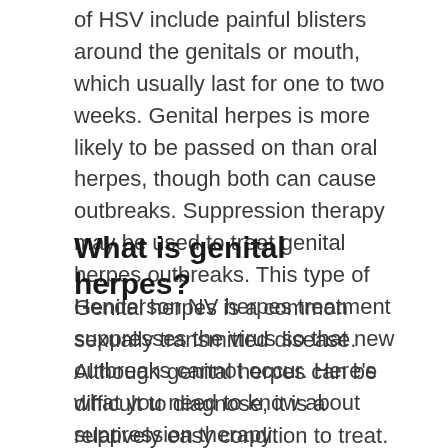of HSV include painful blisters around the genitals or mouth, which usually last for one to two weeks. Genital herpes is more likely to be passed on than oral herpes, though both can cause outbreaks. Suppression therapy may be used to treat genital herpes outbreaks. This type of Henderson NV herpes treatment suppresses the virus so that new outbreaks cannot occur. Here's what you need to know about suppression therapy:
What is genital herpes?
Genital herpes is a common sexually transmitted disease. Although genital herpes can be difficult to diagnose, it is a relatively easy condition to treat. Approximately 2.3% of people in the United States have genital herpes, which makes